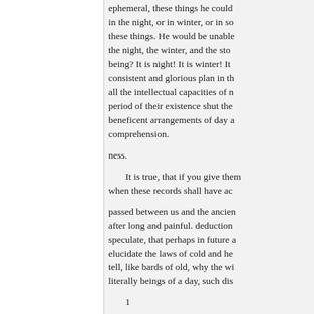ephemeral, these things he could in the night, or in winter, or in so these things. He would be unable the night, the winter, and the sto being? It is night! It is winter! It consistent and glorious plan in th all the intellectual capacities of n period of their existence shut the beneficent arrangements of day a comprehension.
ness.
It is true, that if you give them when these records shall have ac
passed between us and the ancien after long and painful. deduction speculate, that perhaps in future a elucidate the laws of cold and he tell, like bards of old, why the wi literally beings of a day, such dis
1
Some discoveries of modern astr